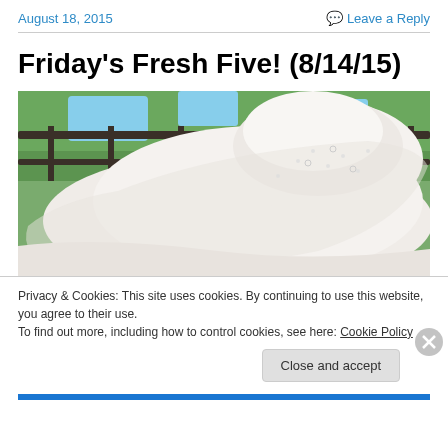August 18, 2015   Leave a Reply
Friday's Fresh Five! (8/14/15)
[Figure (photo): Person wearing a large white eyelet sun hat outdoors, with trees and a railing visible in the background.]
Privacy & Cookies: This site uses cookies. By continuing to use this website, you agree to their use.
To find out more, including how to control cookies, see here: Cookie Policy
Close and accept